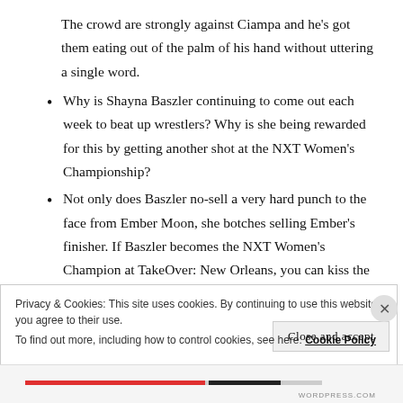The crowd are strongly against Ciampa and he’s got them eating out of the palm of his hand without uttering a single word.
Why is Shayna Baszler continuing to come out each week to beat up wrestlers? Why is she being rewarded for this by getting another shot at the NXT Women’s Championship?
Not only does Baszler no-sell a very hard punch to the face from Ember Moon, she botches selling Ember’s finisher. If Baszler becomes the NXT Women’s Champion at TakeOver: New Orleans, you can kiss the NXT Women’s Division goodbye.
Street Profits vs. Heavy Machinery was a bit fun. Didn’t think Street Profits would get the win here.
Pete Dunne vs. Adam Cole was good, but not as good as the crowd
Privacy & Cookies: This site uses cookies. By continuing to use this website, you agree to their use.
To find out more, including how to control cookies, see here: Cookie Policy
Close and accept